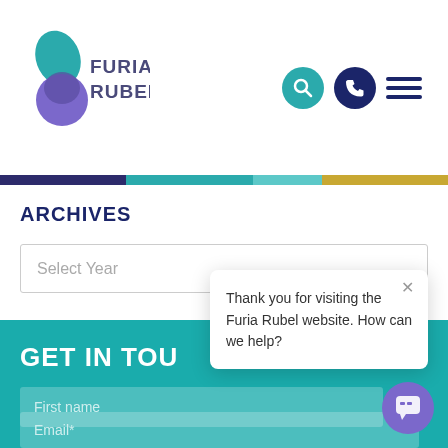[Figure (logo): Furia Rubel logo with teal and purple leaf/circle shapes and text FURIA RUBEL]
[Figure (other): Navigation icons: teal search circle, dark blue phone circle, and dark blue hamburger menu]
[Figure (other): Horizontal color bar with purple, teal, light teal, and gold segments]
ARCHIVES
Select Year
GET IN TOU
First name
Email*
Thank you for visiting the Furia Rubel website. How can we help?